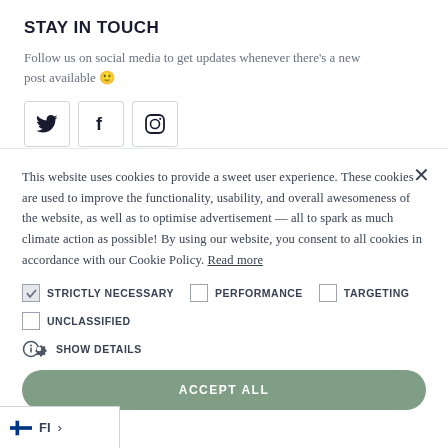STAY IN TOUCH
Follow us on social media to get updates whenever there's a new post available 🙂
[Figure (illustration): Social media icons: Twitter (bird), Facebook (f), Instagram (camera circle), each in a bordered square box]
This website uses cookies to provide a sweet user experience. These cookies are used to improve the functionality, usability, and overall awesomeness of the website, as well as to optimise advertisement — all to spark as much climate action as possible! By using our website, you consent to all cookies in accordance with our Cookie Policy. Read more
STRICTLY NECESSARY (checked), PERFORMANCE (unchecked), TARGETING (unchecked)
UNCLASSIFIED (unchecked)
⚙ SHOW DETAILS
ACCEPT ALL
FI >